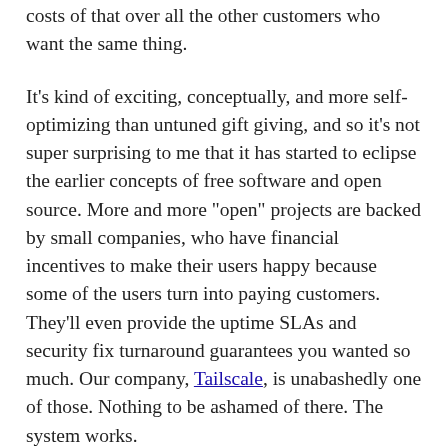costs of that over all the other customers who want the same thing.
It's kind of exciting, conceptually, and more self-optimizing than untuned gift giving, and so it's not super surprising to me that it has started to eclipse the earlier concepts of free software and open source. More and more "open" projects are backed by small companies, who have financial incentives to make their users happy because some of the users turn into paying customers. They'll even provide the uptime SLAs and security fix turnaround guarantees you wanted so much. Our company, Tailscale, is unabashedly one of those. Nothing to be ashamed of there. The system works.
What doesn't work is assuming those startup mechanics apply to everyone out there who gives you a software gift. Not every project on github is the same.